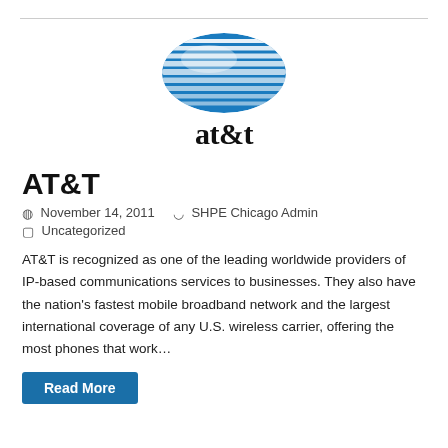[Figure (logo): AT&T logo — blue striped globe/ellipse above 'at&t' text in black serif font]
AT&T
November 14, 2011   SHPE Chicago Admin
Uncategorized
AT&T is recognized as one of the leading worldwide providers of IP-based communications services to businesses. They also have the nation's fastest mobile broadband network and the largest international coverage of any U.S. wireless carrier, offering the most phones that work…
Read More